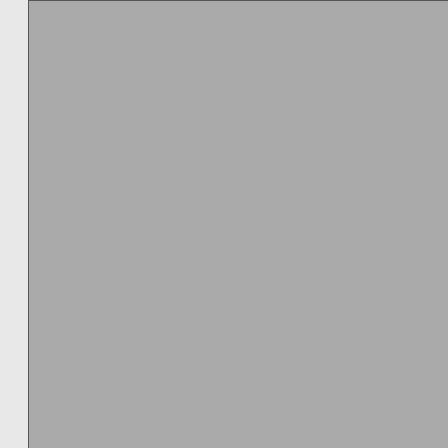[Figure (photo): Top-right cropped photo of machinery (partial, Celaschi Double-End Tenoner)]
Celaschi Double-End Tenoner Model:
[Figure (photo): Photo of Timesaver 52 inch Wide-Belt Sander machine with control panel]
Timesaver 52" Wide-Belt Sa